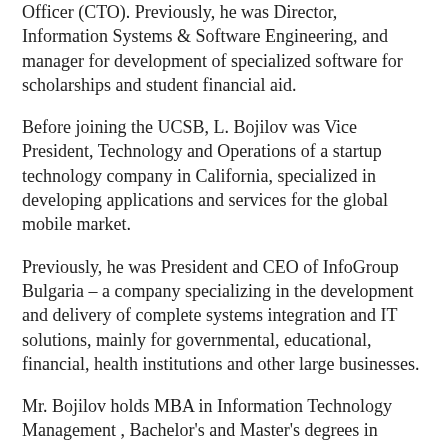Officer (CTO). Previously, he was Director, Information Systems & Software Engineering, and manager for development of specialized software for scholarships and student financial aid.
Before joining the UCSB, L. Bojilov was Vice President, Technology and Operations of a startup technology company in California, specialized in developing applications and services for the global mobile market.
Previously, he was President and CEO of InfoGroup Bulgaria – a company specializing in the development and delivery of complete systems integration and IT solutions, mainly for governmental, educational, financial, health institutions and other large businesses.
Mr. Bojilov holds MBA in Information Technology Management , Bachelor's and Master's degrees in Engineering; associate degree in Computer Science, and numerous certificates in management, marketing, leadership and organizational management.